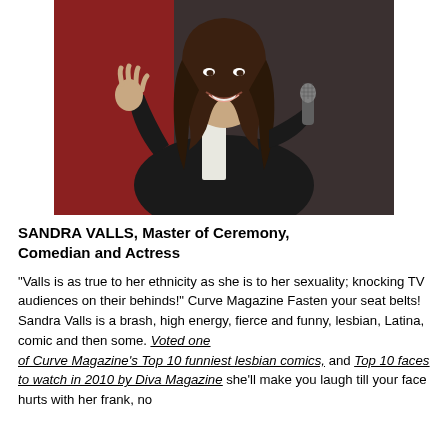[Figure (photo): Photo of Sandra Valls, a woman with long dark hair wearing a black tuxedo jacket and holding a microphone, gesturing with her left hand, smiling, on a stage.]
SANDRA VALLS, Master of Ceremony, Comedian and Actress
“Valls is as true to her ethnicity as she is to her sexuality; knocking TV audiences on their behinds!” Curve Magazine Fasten your seat belts! Sandra Valls is a brash, high energy, fierce and funny, lesbian, Latina, comic and then some. Voted one of Curve Magazine’s Top 10 funniest lesbian comics, and Top 10 faces to watch in 2010 by Diva Magazine she’ll make you laugh till your face hurts with her frank, no